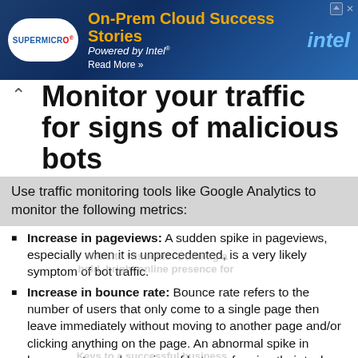[Figure (screenshot): Supermicro and Intel advertisement banner: On-Prem Cloud Success Stories, Powered by Intel, Read More]
Monitor your traffic for signs of malicious bots
Use traffic monitoring tools like Google Analytics to monitor the following metrics:
Increase in pageviews: A sudden spike in pageviews, especially when it is unprecedented, is a very likely symptom of bot traffic.
Increase in bounce rate: Bounce rate refers to the number of users that only come to a single page then leave immediately without moving to another page and/or clicking anything on the page. An abnormal spike in bounce rate can be a sign of bots performing their tasks on a single page and then leaving immediately.
Abnormally high or low dwell time: Dwell time, or session duration, is how long a user stays on a